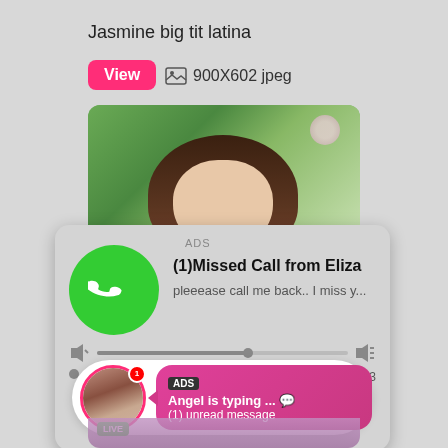Jasmine big tit latina
[Figure (screenshot): UI screenshot showing a 'View' button with pink background, image icon and '900X602 jpeg' text, a photo of a woman outdoors, an audio notification widget labeled 'ADS' with '(1)Missed Call from Eliza' and 'pleeease call me back.. I miss y...' text, audio playback controls (rewind, play, fast-forward), time stamps 0:00 and 3:23, and a chat notification widget with 'LIVE' badge, 'ADS' label, 'Angel is typing ... ' and '(1) unread message' text on pink gradient background.]